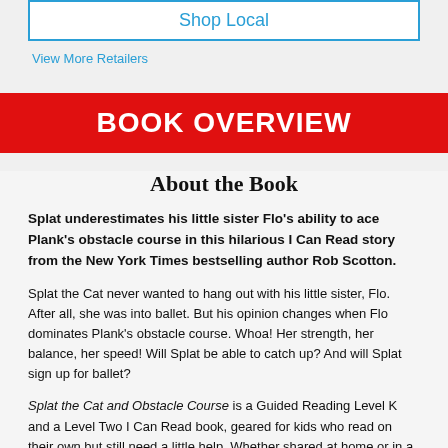Shop Local
View More Retailers
BOOK OVERVIEW
About the Book
Splat underestimates his little sister Flo's ability to ace Plank's obstacle course in this hilarious I Can Read story from the New York Times bestselling author Rob Scotton.
Splat the Cat never wanted to hang out with his little sister, Flo. After all, she was into ballet. But his opinion changes when Flo dominates Plank's obstacle course. Whoa! Her strength, her balance, her speed! Will Splat be able to catch up? And will Splat sign up for ballet?
Splat the Cat and Obstacle Course is a Guided Reading Level K and a Level Two I Can Read book, geared for kids who read on their own but still need a little help. Whether shared at home or in a classroom, the engaging stories, longer sentences, and